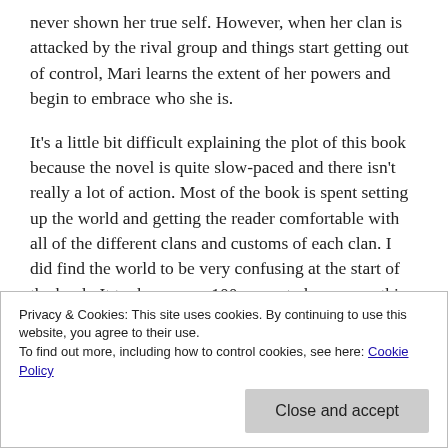never shown her true self. However, when her clan is attacked by the rival group and things start getting out of control, Mari learns the extent of her powers and begin to embrace who she is.
It's a little bit difficult explaining the plot of this book because the novel is quite slow-paced and there isn't really a lot of action. Most of the book is spent setting up the world and getting the reader comfortable with all of the different clans and customs of each clan. I did find the world to be very confusing at the start of the book. It took me over 100 pages to have everything sorted in my mind. There were a lot of characters introduced and I had a hard time putting everything together and figuring out how they expert in fantasy worlds). The world felt like a early history
Privacy & Cookies: This site uses cookies. By continuing to use this website, you agree to their use.
To find out more, including how to control cookies, see here: Cookie Policy